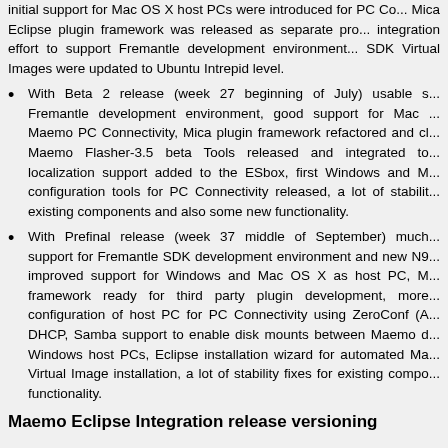initial support for Mac OS X host PCs were introduced for PC Co... Mica Eclipse plugin framework was released as separate pro... integration effort to support Fremantle development environment... SDK Virtual Images were updated to Ubuntu Intrepid level.
With Beta 2 release (week 27 beginning of July) usable s... Fremantle development environment, good support for Mac... Maemo PC Connectivity, Mica plugin framework refactored and cl... Maemo Flasher-3.5 beta Tools released and integrated to... localization support added to the ESbox, first Windows and M... configuration tools for PC Connectivity released, a lot of stabilit... existing components and also some new functionality.
With Prefinal release (week 37 middle of September) much... support for Fremantle SDK development environment and new N9... improved support for Windows and Mac OS X as host PC, M... framework ready for third party plugin development, more... configuration of host PC for PC Connectivity using ZeroConf (A... DHCP, Samba support to enable disk mounts between Maemo d... Windows host PCs, Eclipse installation wizard for automated Ma... Virtual Image installation, a lot of stability fixes for existing compo... functionality.
Maemo Eclipse Integration release versioning